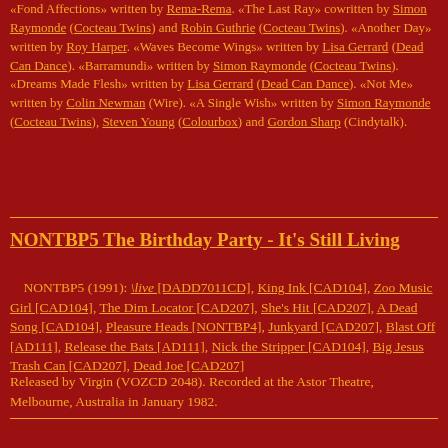«Fond Affections» written by Rema-Rema. «The Last Ray» cowritten by Simon Raymonde (Cocteau Twins) and Robin Guthrie (Cocteau Twins). «Another Day» written by Roy Harper. «Waves Become Wings» written by Lisa Gerrard (Dead Can Dance). «Barramundi» written by Simon Raymonde (Cocteau Twins). «Dreams Made Flesh» written by Lisa Gerrard (Dead Can Dance). «Not Me» written by Colin Newman (Wire). «A Single Wish» written by Simon Raymonde (Cocteau Twins), Steven Young (Colourbox) and Gordon Sharp (Cindytalk).
NONTBP5 The Birthday Party - It's Still Living
NONTBP5 (1991): \live [DADD7011CD], King Ink [CAD104], Zoo Music Girl [CAD104], The Dim Locator [CAD207], She's Hit [CAD207], A Dead Song [CAD104], Pleasure Heads [NONTBP4], Junkyard [CAD207], Blast Off [AD111], Release the Bats [AD111], Nick the Stripper [CAD104], Big Jesus Trash Can [CAD207], Dead Joe [CAD207]
Released by Virgin (VOZCD 2048). Recorded at the Astor Theatre, Melbourne, Australia in January 1982.